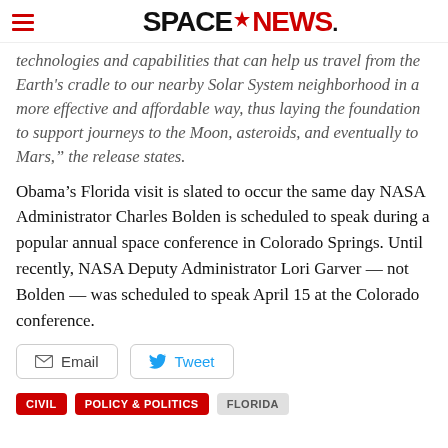SPACENEWS
technologies and capabilities that can help us travel from the Earth's cradle to our nearby Solar System neighborhood in a more effective and affordable way, thus laying the foundation to support journeys to the Moon, asteroids, and eventually to Mars,” the release states.
Obama’s Florida visit is slated to occur the same day NASA Administrator Charles Bolden is scheduled to speak during a popular annual space conference in Colorado Springs. Until recently, NASA Deputy Administrator Lori Garver — not Bolden — was scheduled to speak April 15 at the Colorado conference.
Email
Tweet
CIVIL
POLICY & POLITICS
FLORIDA